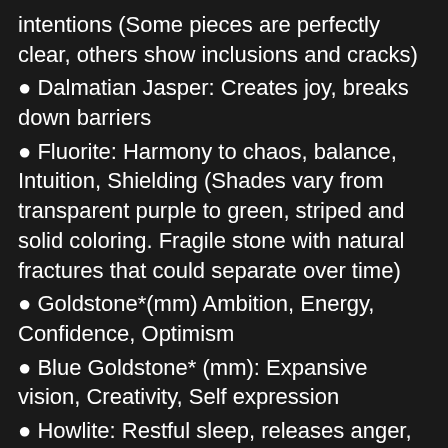intentions (Some pieces are perfectly clear, others show inclusions and cracks)
Dalmatian Jasper: Creates joy, breaks down barriers
Fluorite: Harmony to chaos, balance, Intuition, Shielding (Shades vary from transparent purple to green, striped and solid coloring. Fragile stone with natural fractures that could separate over time)
Goldstone*(mm) Ambition, Energy, Confidence, Optimism
Blue Goldstone* (mm): Expansive vision, Creativity, Self expression
Howlite: Restful sleep, releases anger, self acceptance, generosity
Labradorite: Strength, Personal growth, life changes. (Most pendants will have small spots of flash, but not every piece)
Lapis Lazuli* (dye enhanced) Communication, Creativity, Self expression